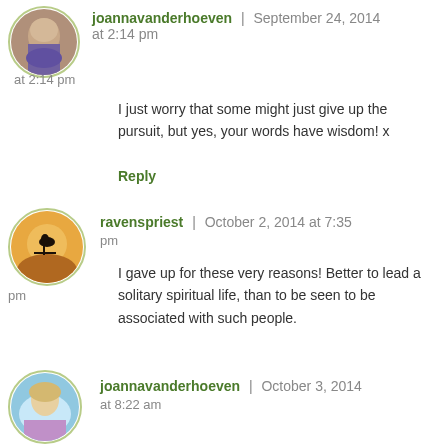[Figure (photo): Circular avatar photo of joannavanderhoeven, woman with green/purple tones]
joannavanderhoeven | September 24, 2014 at 2:14 pm
I just worry that some might just give up the pursuit, but yes, your words have wisdom! x
Reply
[Figure (photo): Circular avatar photo of ravenspriest, silhouette of bird on branch against moon]
ravenspriest | October 2, 2014 at 7:35 pm
I gave up for these very reasons! Better to lead a solitary spiritual life, than to be seen to be associated with such people.
[Figure (photo): Circular avatar photo of joannavanderhoeven, blonde woman outdoors]
joannavanderhoeven | October 3, 2014 at 8:22 am